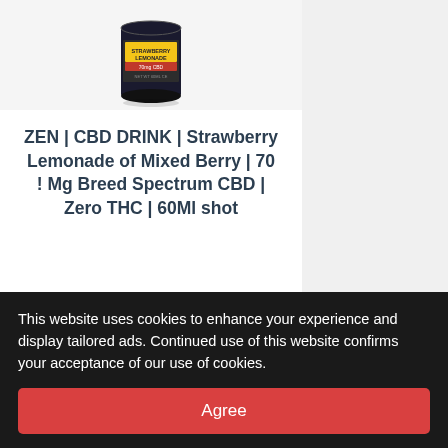[Figure (photo): Partial view of a small can labeled STRAWBERRY LEMONADE with 70mg CBD marking]
ZEN | CBD DRINK | Strawberry Lemonade of Mixed Berry | 70 ! Mg Breed Spectrum CBD | Zero THC | 60Ml shot
€8.00 €6.00
Strawberry Lemonade ▼
[Figure (screenshot): Add to cart button (red, shopping cart icon) and wishlist button (red, heart icon)]
This website uses cookies to enhance your experience and display tailored ads. Continued use of this website confirms your acceptance of our use of cookies.
Agree